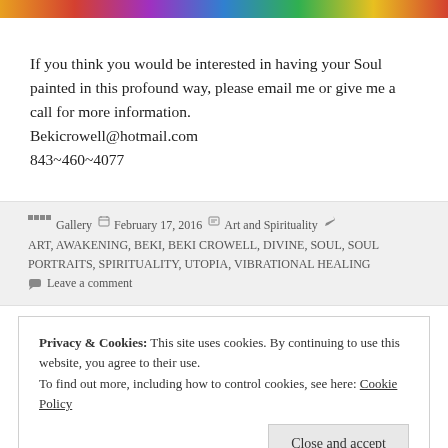[Figure (photo): Colorful image strip at top of page]
If you think you would be interested in having your Soul painted in this profound way, please email me or give me a call for more information. Bekicrowell@hotmail.com 843~460~4077
Gallery  February 17, 2016  Art and Spirituality  ART, AWAKENING, BEKI, BEKI CROWELL, DIVINE, SOUL, SOUL PORTRAITS, SPIRITUALITY, UTOPIA, VIBRATIONAL HEALING  Leave a comment
Privacy & Cookies: This site uses cookies. By continuing to use this website, you agree to their use. To find out more, including how to control cookies, see here: Cookie Policy  Close and accept